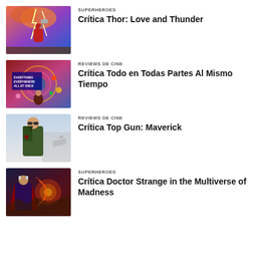[Figure (illustration): Thor: Love and Thunder movie poster - superhero figure raising a hammer against lightning and colorful clouds]
SUPERHEROES
Crítica Thor: Love and Thunder
[Figure (illustration): Everything Everywhere All at Once movie poster - colorful collage of characters]
REVIEWS DE CINE
Crítica Todo en Todas Partes Al Mismo Tiempo
[Figure (illustration): Top Gun: Maverick movie poster - man in aviator sunglasses and military jacket]
REVIEWS DE CINE
Crítica Top Gun: Maverick
[Figure (illustration): Doctor Strange in the Multiverse of Madness movie poster - superhero and magical effects]
SUPERHEROES
Crítica Doctor Strange in the Multiverse of Madness